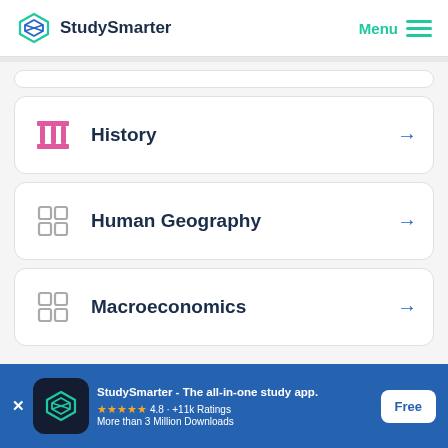StudySmarter — Menu
History
Human Geography
Macroeconomics
[Figure (screenshot): StudySmarter app download banner with logo, star rating 4.8 +11k Ratings, More than 3 Million Downloads, and Free button]